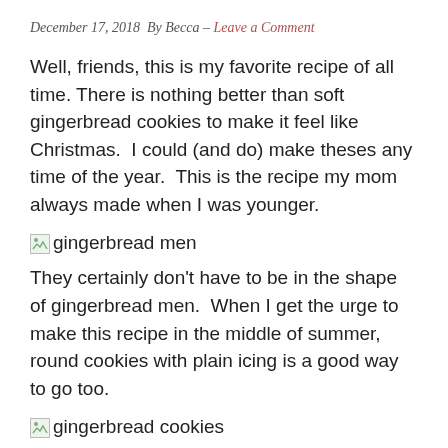December 17, 2018  By Becca – Leave a Comment
Well, friends, this is my favorite recipe of all time. There is nothing better than soft gingerbread cookies to make it feel like Christmas.  I could (and do) make theses any time of the year.  This is the recipe my mom always made when I was younger.
[Figure (photo): Broken image placeholder with alt text: gingerbread men]
They certainly don’t have to be in the shape of gingerbread men.  When I get the urge to make this recipe in the middle of summer, round cookies with plain icing is a good way to go too.
[Figure (photo): Broken image placeholder with alt text: gingerbread cookies]